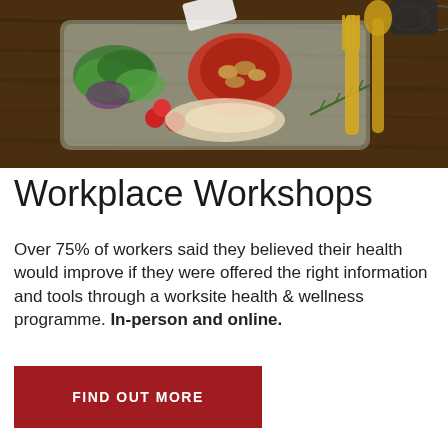[Figure (photo): Overhead view of a glass meal prep container with salad greens, cherry tomatoes, stuffed peppers with nuts, and chicken, alongside a yellow fork and spoon on a dark wooden surface.]
Workplace Workshops
Over 75% of workers said they believed their health would improve if they were offered the right information and tools through a worksite health & wellness programme. In-person and online.
FIND OUT MORE